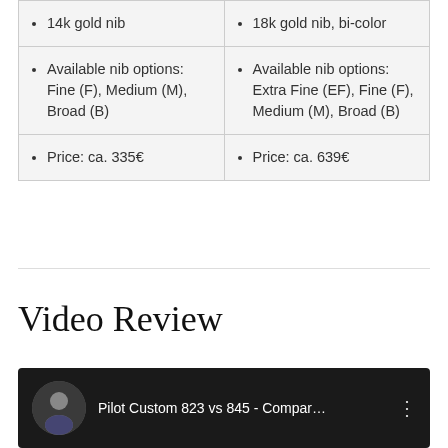| 14k gold nib | 18k gold nib, bi-color |
| Available nib options: Fine (F), Medium (M), Broad (B) | Available nib options: Extra Fine (EF), Fine (F), Medium (M), Broad (B) |
| Price: ca. 335€ | Price: ca. 639€ |
Video Review
[Figure (screenshot): YouTube video thumbnail showing 'Pilot Custom 823 vs 845 - Compar...' with a circular avatar of a man in a suit]